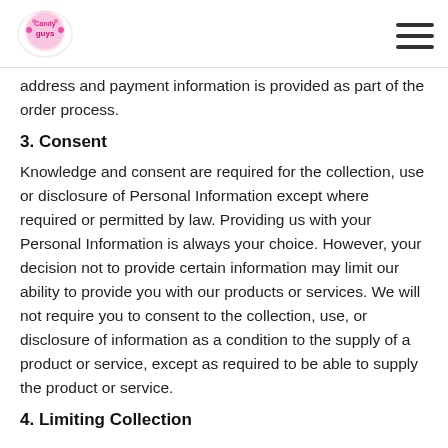Candy Guys logo and navigation menu
address and payment information is provided as part of the order process.
3. Consent
Knowledge and consent are required for the collection, use or disclosure of Personal Information except where required or permitted by law. Providing us with your Personal Information is always your choice. However, your decision not to provide certain information may limit our ability to provide you with our products or services. We will not require you to consent to the collection, use, or disclosure of information as a condition to the supply of a product or service, except as required to be able to supply the product or service.
4. Limiting Collection